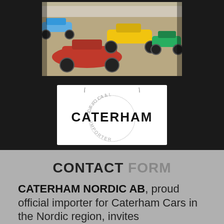[Figure (photo): Showroom photo of multiple Caterham sports cars in various colors (red, yellow, green) on a showroom floor, viewed from above at an angle.]
[Figure (logo): Caterham Official Importer logo — circular stamp reading OFFICIAL above and IMPORTER below, with CATERHAM in large bold text in the center.]
CONTACT FORM
CATERHAM NORDIC AB, proud official importer for Caterham Cars in the Nordic region, invites